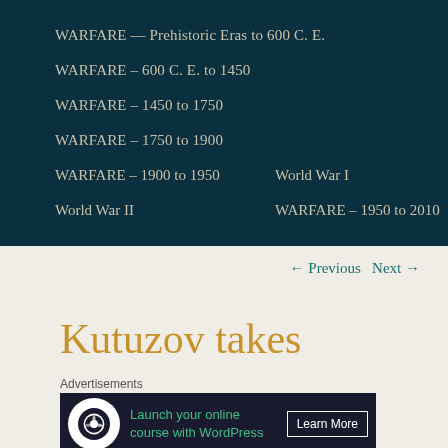WARFARE — Prehistoric Eras to 600 C. E.
WARFARE – 600 C. E. to 1450
WARFARE – 1450 to 1750
WARFARE – 1750 to 1900
WARFARE – 1900 to 1950   World War I
World War II   WARFARE – 1950 to 2010
← Previous   Next →
Kutuzov takes
Advertisements
Launch your online course with WordPress   Learn More